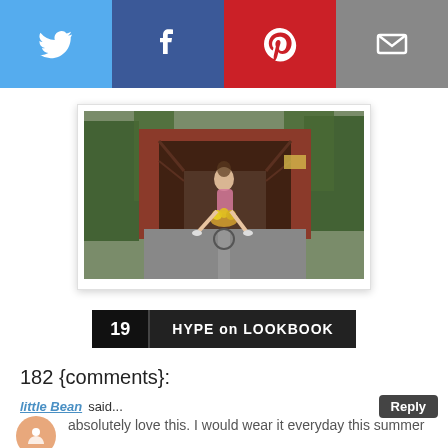[Figure (other): Social sharing bar with Twitter, Facebook, Pinterest, and Email buttons]
[Figure (photo): A woman riding a bicycle in front of a red covered bridge, with yellow flowers in the basket. Trees and greenery surround the bridge.]
19 HYPE on LOOKBOOK
182 {comments}:
little Bean said...
absolutely love this. I would wear it everyday this summer